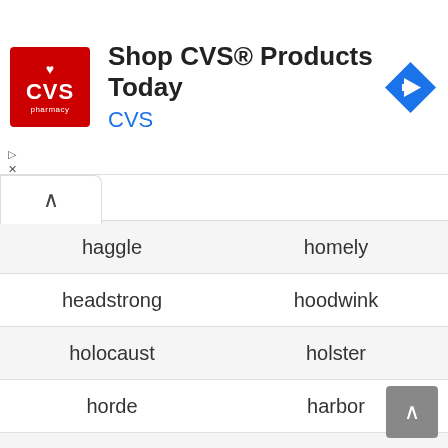[Figure (other): CVS Pharmacy advertisement banner with logo, title 'Shop CVS® Products Today', subtitle 'CVS', and navigation icon]
| Word | Word |
| --- | --- |
| haggle | homely |
| headstrong | hoodwink |
| holocaust | holster |
| horde | harbor |
| huddle | hindsight |
| humble | hue |
| idiom | impaired |
| implement | impromptu |